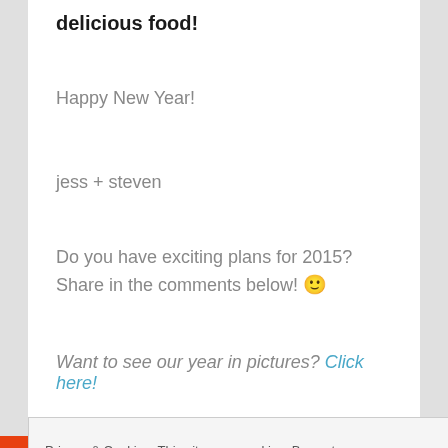delicious food!
Happy New Year!
jess + steven
Do you have exciting plans for 2015? Share in the comments below! 🙂
Want to see our year in pictures? Click here!
Privacy & Cookies: This site uses cookies. By cont website, you agree to their use. To find out more, including how to control cookie Close and accept